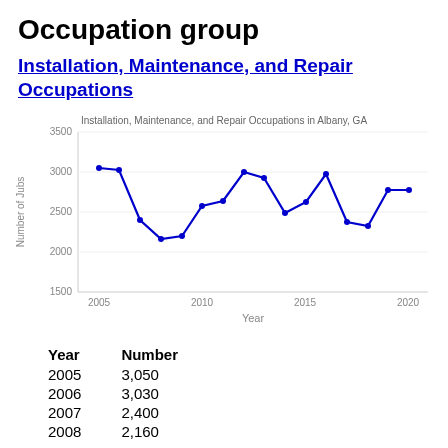Occupation group
Installation, Maintenance, and Repair Occupations
[Figure (line-chart): Installation, Maintenance, and Repair Occupations in Albany, GA]
| Year | Number |
| --- | --- |
| 2005 | 3,050 |
| 2006 | 3,030 |
| 2007 | 2,400 |
| 2008 | 2,160 |